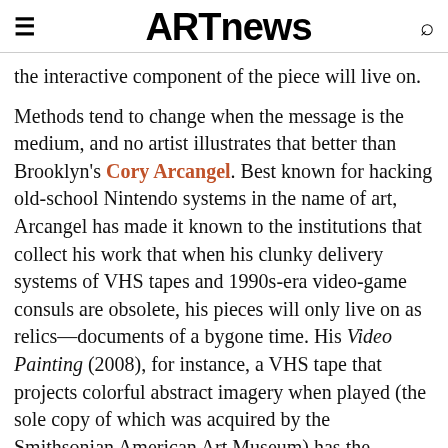ARTnews
the interactive component of the piece will live on.
Methods tend to change when the message is the medium, and no artist illustrates that better than Brooklyn's Cory Arcangel. Best known for hacking old-school Nintendo systems in the name of art, Arcangel has made it known to the institutions that collect his work that when his clunky delivery systems of VHS tapes and 1990s-era video-game consuls are obsolete, his pieces will only live on as relics—documents of a bygone time. His Video Painting (2008), for instance, a VHS tape that projects colorful abstract imagery when played (the sole copy of which was acquired by the Smithsonian American Art Museum) has the unfortunate side effect of deteriorating into an unusable piece of plastic by the end of an exhibition run. The museum owns an archival copy and a second-generation copy from which it makes exhibition copies for shows.